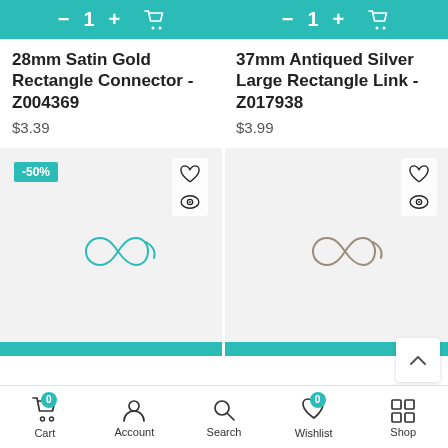[Figure (screenshot): Add to cart bar for product 1 with minus, 1, plus buttons and cart icon on teal background]
28mm Satin Gold Rectangle Connector - Z004369
$3.39
[Figure (screenshot): Add to cart bar for product 2 with minus, 1, plus buttons and cart icon on teal background]
37mm Antiqued Silver Large Rectangle Link - Z017938
$3.99
[Figure (illustration): Product image card with -50% badge, heart and eye icons, placeholder infinity-like image on gray background]
[Figure (illustration): Product image card with heart and eye icons, placeholder infinity-like image on gray background]
Cart 0  Account  Search  Wishlist 0  Shop